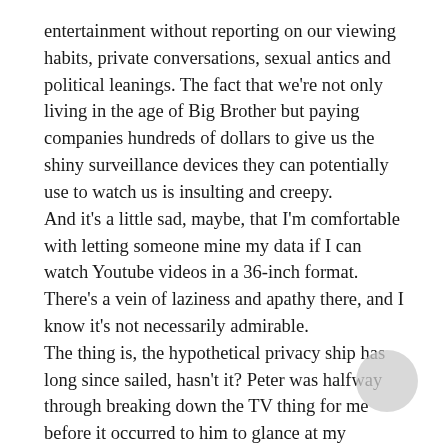entertainment without reporting on our viewing habits, private conversations, sexual antics and political leanings. The fact that we're not only living in the age of Big Brother but paying companies hundreds of dollars to give us the shiny surveillance devices they can potentially use to watch us is insulting and creepy. And it's a little sad, maybe, that I'm comfortable with letting someone mine my data if I can watch Youtube videos in a 36-inch format. There's a vein of laziness and apathy there, and I know it's not necessarily admirable. The thing is, the hypothetical privacy ship has long since sailed, hasn't it? Peter was halfway through breaking down the TV thing for me before it occurred to him to glance at my flatscreen and jokingly ask if it might be listening. Our phones were on. Heck, the window was open. If you want to plan a (virtuously-motivated, civilly-disobedient non-violent) crime these days, and you want to be 100% sure Ominous They couldn't get wind of it, could you put a working Cone of Silence together? Is that possible? Even if you pulled it off, and didn't leave any kind of evidence trail, Peter himself points out that Ominous They don't really care about the law. Innocent or guilty,